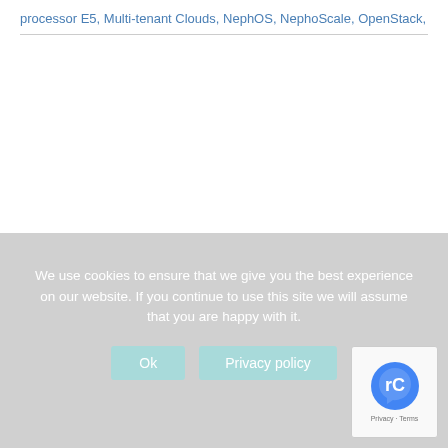processor E5, Multi-tenant Clouds, NephOS, NephoScale, OpenStack, OpenStack Liber...
We use cookies to ensure that we give you the best experience on our website. If you continue to use this site we will assume that you are happy with it.